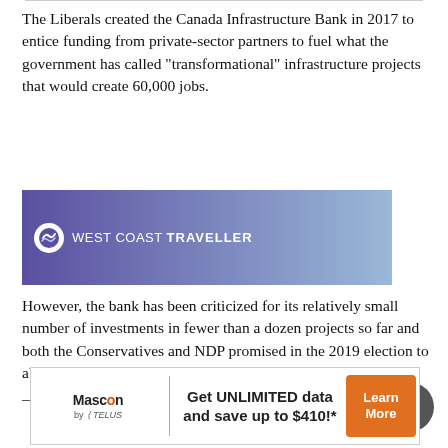The Liberals created the Canada Infrastructure Bank in 2017 to entice funding from private-sector partners to fuel what the government has called “transformational” infrastructure projects that would create 60,000 jobs.
[Figure (logo): West Coast Traveller advertisement banner with purple-to-blue gradient background, circular logo icon on left, text reading WEST COAST TRAVELLER]
However, the bank has been criticized for its relatively small number of investments in fewer than a dozen projects so far and both the Conservatives and NDP promised in the 2019 election to abolish the bank if they were voted into power.
— With files from Christopher Reynolds in Ottawa
[Figure (infographic): Mascon by TELUS advertisement: Get UNLIMITED data and save up to $410!* with Learn More button in orange]